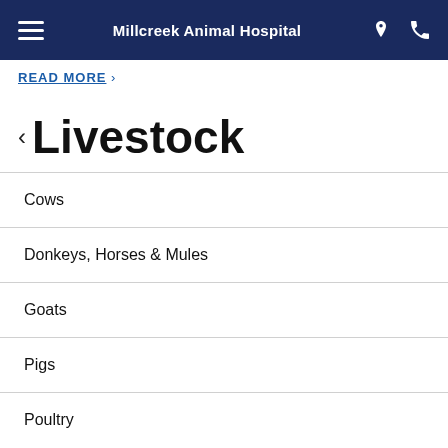Millcreek Animal Hospital
READ MORE
< Livestock
Cows
Donkeys, Horses & Mules
Goats
Pigs
Poultry